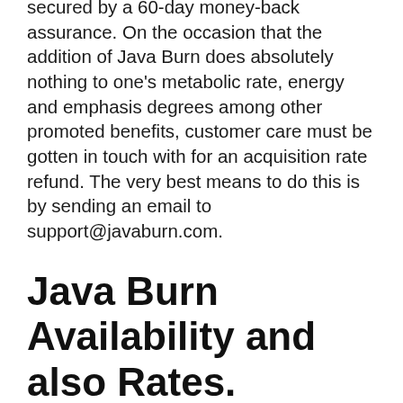Yes, all Java Burn acquisitions have been secured by a 60-day money-back assurance. On the occasion that the addition of Java Burn does absolutely nothing to one's metabolic rate, energy and emphasis degrees among other promoted benefits, customer care must be gotten in touch with for an acquisition rate refund. The very best means to do this is by sending an email to support@javaburn.com.
Java Burn Availability and also Rates.
Java Burn is available for sale in just one area– the firm's official site. Consequently, you can not buy it from internet sites and